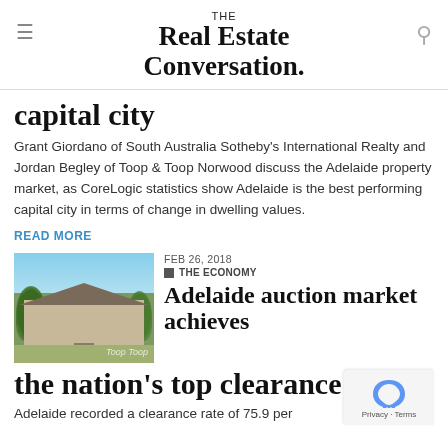THE Real Estate Conversation.
capital city
Grant Giordano of South Australia Sotheby's International Realty and Jordan Begley of Toop & Toop Norwood discuss the Adelaide property market, as CoreLogic statistics show Adelaide is the best performing capital city in terms of change in dwelling values.
READ MORE
[Figure (photo): Photo of a house with trees and garden, thumbnail for article about Adelaide auction market]
FEB 26, 2018  THE ECONOMY
Adelaide auction market achieves the nation's top clearance rate
Adelaide recorded a clearance rate of 75.9 per